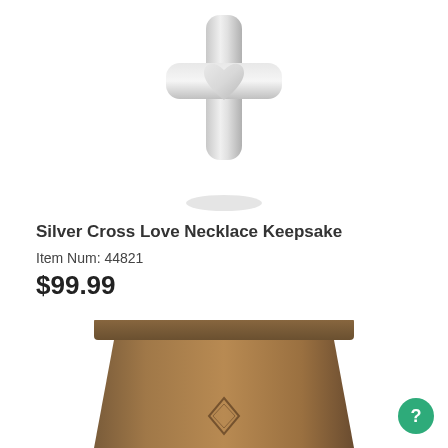[Figure (photo): Silver cross-shaped keepsake pendant with a heart in the center, shown on white background with soft shadow beneath]
Silver Cross Love Necklace Keepsake
Item Num: 44821
$99.99
[Figure (photo): Wooden memorial urn with dark wood finish and a diamond-shaped decorative inlay on the front, partially visible at bottom of page]